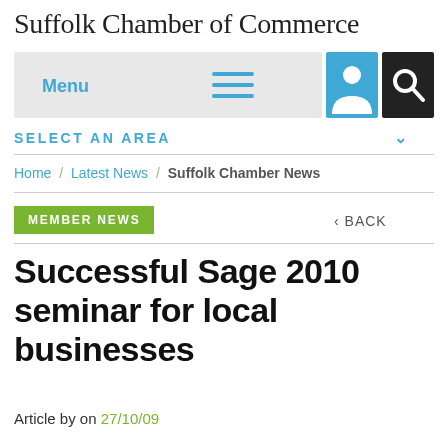Suffolk Chamber of Commerce
[Figure (screenshot): Navigation bar with Menu text, hamburger icon, user icon (blue), and search icon (black)]
SELECT AN AREA
Home / Latest News / Suffolk Chamber News
MEMBER NEWS
< BACK
Successful Sage 2010 seminar for local businesses
Article by on 27/10/09